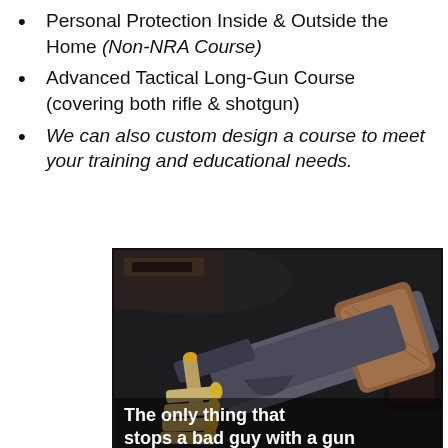Personal Protection Inside & Outside the Home (Non-NRA Course)
Advanced Tactical Long-Gun Course (covering both rifle & shotgun)
We can also custom design a course to meet your training and educational needs.
[Figure (photo): Photo of a handgun with ammunition and leather holster, with text overlay reading 'The only thing that stops a bad guy with a gun']